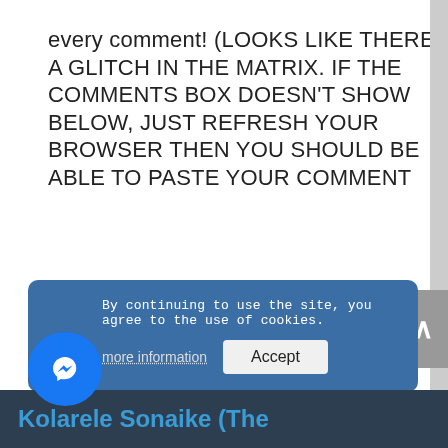every comment! (LOOKS LIKE THERE'S A GLITCH IN THE MATRIX. IF THE COMMENTS BOX DOESN'T SHOW BELOW, JUST REFRESH YOUR BROWSER THEN YOU SHOULD BE ABLE TO PASTE YOUR COMMENT
[Figure (screenshot): Cookie consent banner with Facebook Messenger icon, 'By continuing to use the site, you agree to the use of cookies.' text, 'more information' link and 'Accept' button in blue rounded rectangle. A dark footer bar below shows 'Kolarele Sonaike (The' in blue text.]